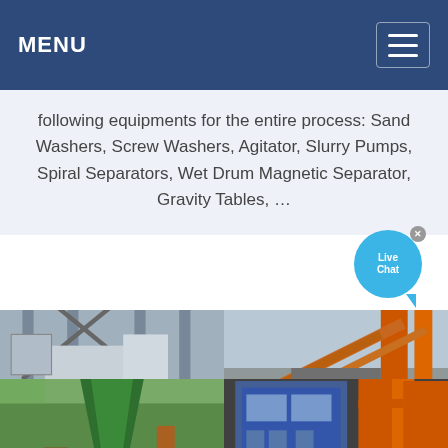MENU
following equipments for the entire process: Sand Washers, Screw Washers, Agitator, Slurry Pumps, Spiral Separators, Wet Drum Magnetic Separator, Gravity Tables, …
[Figure (photo): Live Chat bubble widget with blue circular badge and close button]
[Figure (photo): Grid of four industrial mining equipment photos: top-left shows a grey metal industrial structure with stairs and conveyors; top-right shows orange conveyor belts crossing over a gravel stockpile; bottom-left shows a green cone crusher machine outdoors; bottom-right shows industrial interior with orange pipes and blue control panel]